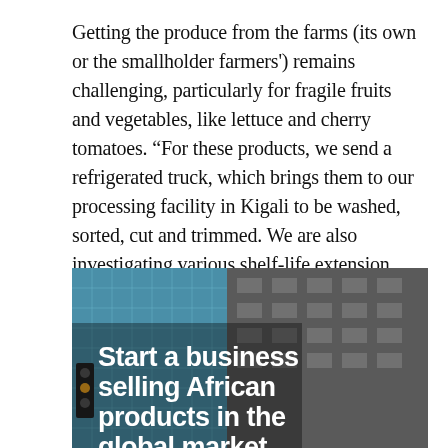Getting the produce from the farms (its own or the smallholder farmers') remains challenging, particularly for fragile fruits and vegetables, like lettuce and cherry tomatoes. “For these products, we send a refrigerated truck, which brings them to our processing facility in Kigali to be washed, sorted, cut and trimmed. We are also investigating various shelf-life extension options such as gas flushing or better packaging,” says Sproston.
[Figure (photo): Advertisement image showing city buildings with bold white text overlay reading 'Start a business selling African products in the global market']